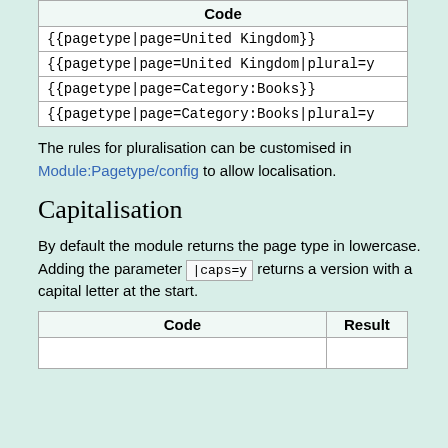| Code |
| --- |
| {{pagetype|page=United Kingdom}} |
| {{pagetype|page=United Kingdom|plural=y |
| {{pagetype|page=Category:Books}} |
| {{pagetype|page=Category:Books|plural=y |
The rules for pluralisation can be customised in Module:Pagetype/config to allow localisation.
Capitalisation
By default the module returns the page type in lowercase. Adding the parameter |caps=y returns a version with a capital letter at the start.
| Code | Result |
| --- | --- |